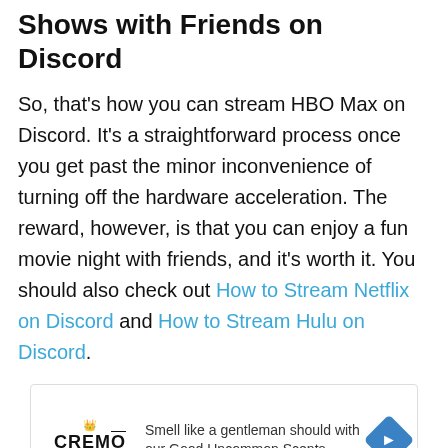Shows with Friends on Discord
So, that’s how you can stream HBO Max on Discord. It’s a straightforward process once you get past the minor inconvenience of turning off the hardware acceleration. The reward, however, is that you can enjoy a fun movie night with friends, and it’s worth it. You should also check out How to Stream Netflix on Discord and How to Stream Hulu on Discord.
[Figure (other): Advertisement for Cremo grooming products with text: Smell like a gentleman should with our Good Uncommon Scents. Features Cremo logo and navigation arrow icon.]